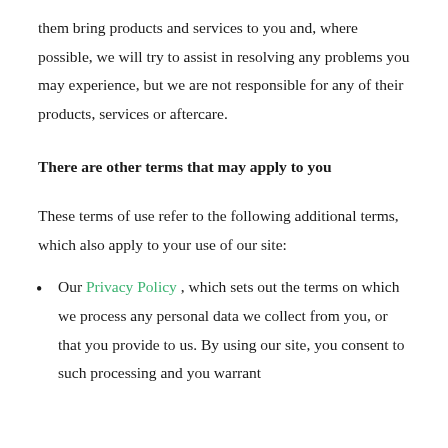them bring products and services to you and, where possible, we will try to assist in resolving any problems you may experience, but we are not responsible for any of their products, services or aftercare.
There are other terms that may apply to you
These terms of use refer to the following additional terms, which also apply to your use of our site:
Our Privacy Policy , which sets out the terms on which we process any personal data we collect from you, or that you provide to us. By using our site, you consent to such processing and you warrant